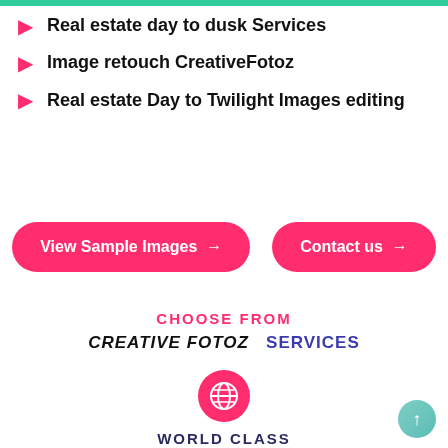Real estate day to dusk Services
Image retouch CreativeFotoz
Real estate Day to Twilight Images editing
[Figure (infographic): Two pink rounded pill buttons: 'View Sample Images →' and 'Contact us →']
CHOOSE FROM
CREATIVE FOTOZ  SERVICES
[Figure (illustration): Pink circle with white globe/grid icon representing 'World Class' services]
WORLD CLASS